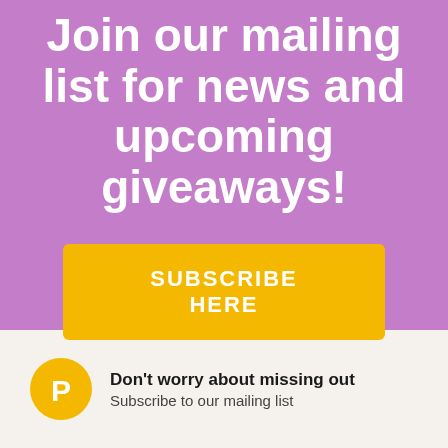Join our mailing list for news and upcoming giveaways!
SUBSCRIBE HERE
[Figure (logo): Yellow circular logo with stylized white letter P (bird shape)]
Don't worry about missing out
Subscribe to our mailing list